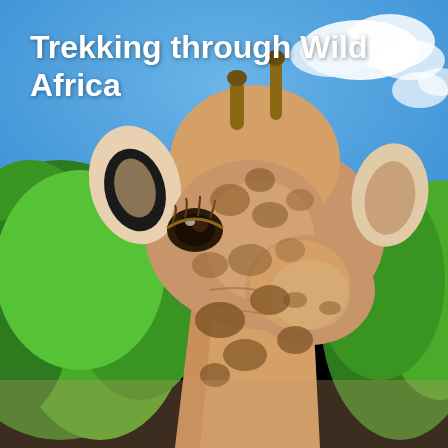[Figure (photo): Close-up photograph of a giraffe's head and neck looking toward the camera, with green trees and a blue sky with white clouds in the background. The giraffe has the characteristic brown patch pattern on a cream/white coat.]
Trekking through Wild Africa